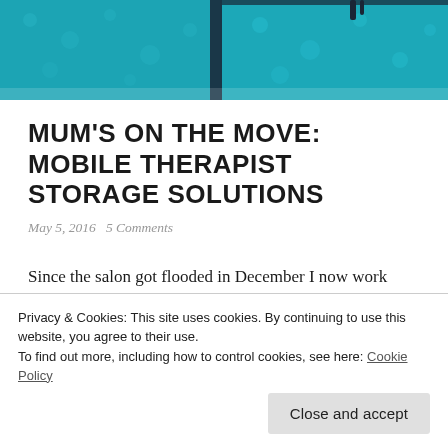[Figure (photo): Close-up photo of teal/turquoise patterned bags or luggage with dark trim, viewed from above.]
MUM'S ON THE MOVE: MOBILE THERAPIST STORAGE SOLUTIONS
May 5, 2016   5 Comments
Since the salon got flooded in December I now work mainly from my home based salon, but I also offer a mobile service. Generally I am out and about at least 1 day a
having everything sitting ready in a salon, to being mobile,
Privacy & Cookies: This site uses cookies. By continuing to use this website, you agree to their use.
To find out more, including how to control cookies, see here: Cookie Policy